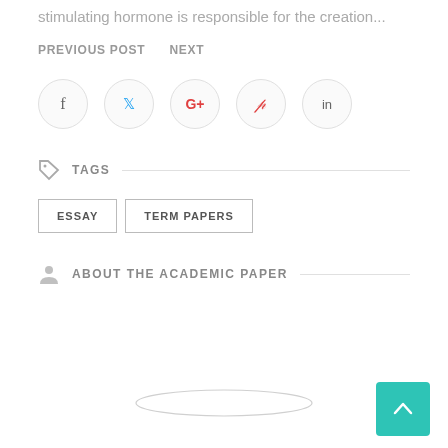stimulating hormone is responsible for the creation...
PREVIOUS POST   NEXT
[Figure (infographic): Social share icons: Facebook, Twitter, Google+, Pinterest, LinkedIn — each in a light circular border]
TAGS
ESSAY
TERM PAPERS
ABOUT THE ACADEMIC PAPER
[Figure (other): Ellipse/oval outline at bottom center of page]
[Figure (other): Back to top button — teal square with upward chevron arrow, bottom right corner]